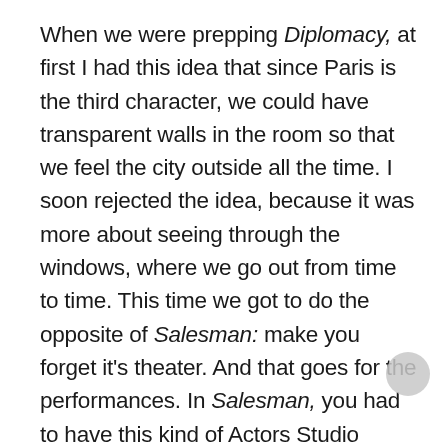When we were prepping Diplomacy, at first I had this idea that since Paris is the third character, we could have transparent walls in the room so that we feel the city outside all the time. I soon rejected the idea, because it was more about seeing through the windows, where we go out from time to time. This time we got to do the opposite of Salesman: make you forget it's theater. And that goes for the performances. In Salesman, you had to have this kind of Actors Studio performances, this powerhouse of emotion where you cannot pretend this is a real family at home right now yelling at each other. It wouldn't be like that. Diplomacy is a different world. With these two guys in the room, I wanted to have the feeling that there is an intimacy and this indeed is as they speak together—one